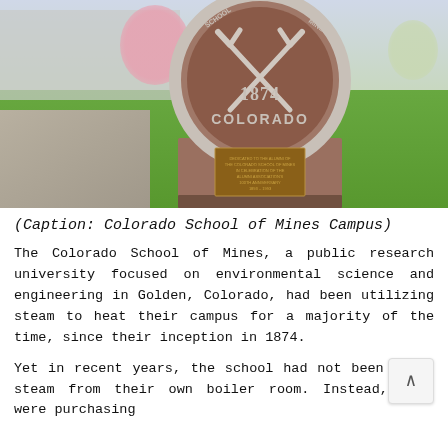[Figure (photo): Photograph of Colorado School of Mines campus showing a large granite dome-shaped monument with crossed pickaxes, '1874', and 'COLORADO' text, along with a bronze plaque. Background shows green lawn, blooming cherry trees, and campus buildings.]
(Caption: Colorado School of Mines Campus)
The Colorado School of Mines, a public research university focused on environmental science and engineering in Golden, Colorado, had been utilizing steam to heat their campus for a majority of the time, since their inception in 1874.
Yet in recent years, the school had not been using steam from their own boiler room. Instead, they were purchasing